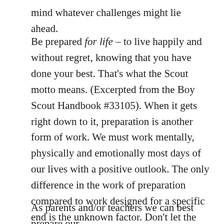mind whatever challenges might lie ahead.
Be prepared for life – to live happily and without regret, knowing that you have done your best. That's what the Scout motto means. (Excerpted from the Boy Scout Handbook #33105). When it gets right down to it, preparation is another form of work. We must work mentally, physically and emotionally most days of our lives with a positive outlook. The only difference in the work of preparation compared to work designed for a specific end is the unknown factor. Don't let the unknown stop you; keep reading, keep thinking, keep fresh batteries ready for your flashlight, and keep yourself preparing for the life you imagine.
As parents and/or teachers we can best prepare our